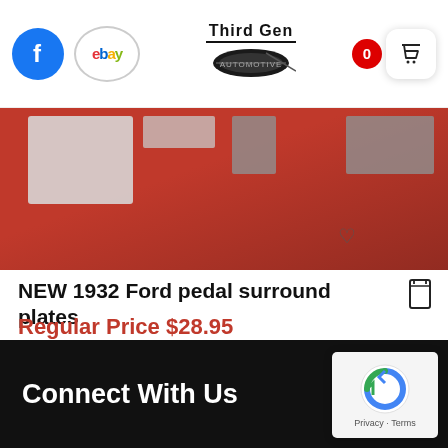Third Gen Automotive — header with Facebook, eBay icons and cart showing 0
[Figure (photo): Product photo showing 1932 Ford pedal surround plates on a red background]
NEW 1932 Ford pedal surround plates
Regular Price $28.95
Part No. B-35196
Quick View
Connect With Us